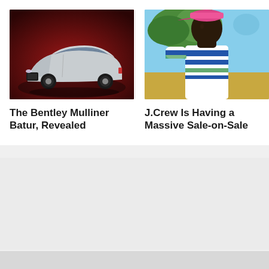[Figure (photo): Silver Bentley Mulliner Batur luxury coupe on dark red/maroon background]
The Bentley Mulliner Batur, Revealed
[Figure (photo): Man wearing white and blue striped long-sleeve shirt, outdoors with trees and sky in background, wearing a cap]
J.Crew Is Having a Massive Sale-on-Sale